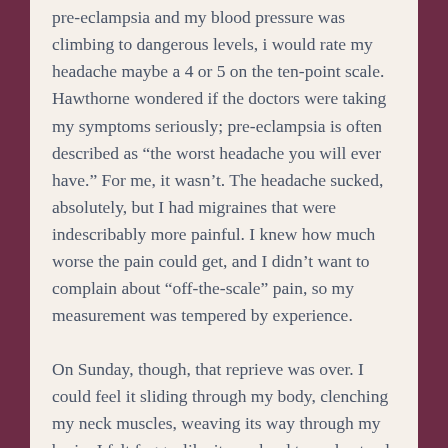pre-eclampsia and my blood pressure was climbing to dangerous levels, i would rate my headache maybe a 4 or 5 on the ten-point scale. Hawthorne wondered if the doctors were taking my symptoms seriously; pre-eclampsia is often described as “the worst headache you will ever have.” For me, it wasn’t. The headache sucked, absolutely, but I had migraines that were indescribably more painful. I knew how much worse the pain could get, and I didn’t want to complain about “off-the-scale” pain, so my measurement was tempered by experience.
On Sunday, though, that reprieve was over. I could feel it sliding through my body, clenching my neck muscles, weaving its way through my brain. I felt foggy, like it was hard to understand. When was I, sometimes? What does I see the...